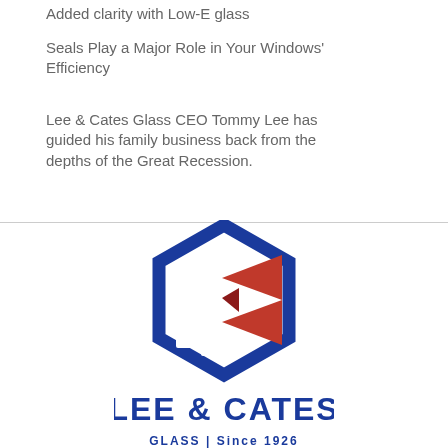Added clarity with Low-E glass
Seals Play a Major Role in Your Windows' Efficiency
Lee & Cates Glass CEO Tommy Lee has guided his family business back from the depths of the Great Recession.
[Figure (logo): Lee & Cates Glass logo featuring a blue hexagon outline with white window panes and a red bowtie/hourglass shape, with text LEE & CATES GLASS | Since 1926]